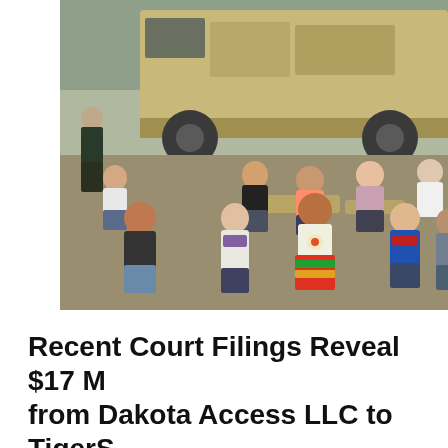[Figure (photo): Outdoor protest scene: multiple people sitting on the ground in front of a large military-style tan vehicle (HMMWV/Humvee). A uniformed officer stands near the vehicle. Protesters include individuals in colorful traditional and casual clothing, some wearing sunglasses. The setting appears to be a dirt road or field.]
Recent Court Filings Reveal $17 M from Dakota Access LLC to TigerS